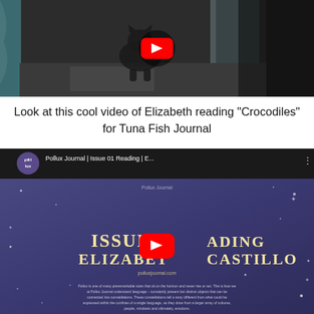[Figure (screenshot): YouTube video thumbnail showing a cat near a glass sliding door with sunlight, with a red YouTube play button overlay]
Look at this cool video of Elizabeth reading “Crocodiles” for Tuna Fish Journal
[Figure (screenshot): YouTube embedded video thumbnail for Pollux Journal Issue 01 Reading by Elizabeth Castillo, showing a purple/dark blue starry background with gold text 'ISSUE READING ELIZABETH CASTILLO' and a red YouTube play button overlay. Small text at bottom about Pollux Journal mission. URL: polluxjournal.com]